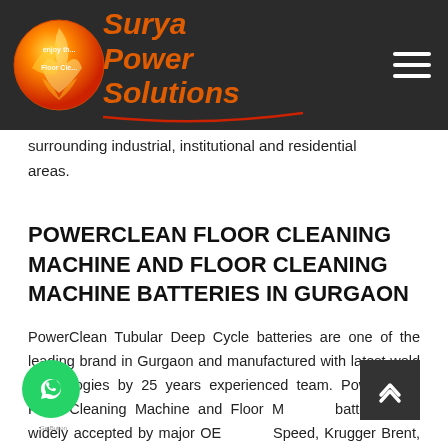Surya Power Solutions
surrounding industrial, institutional and residential areas.
POWERCLEAN FLOOR CLEANING MACHINE AND FLOOR CLEANING MACHINE BATTERIES IN GURGAON
PowerClean Tubular Deep Cycle batteries are one of the leading brand in Gurgaon and manufactured with latest wold technologies by 25 years experienced team. PowerClean Floor Cleaning Machine and Floor Machine batteries are widely accepted by major OEMs like Speed, Krugger Brent, Dolevo, Inter Pump, Com Vac, Inventa Karcher, and others. PowerClean Batteries